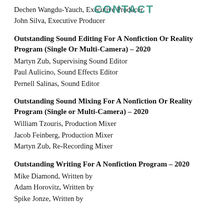Dechen Wangdu-Yauch, Executive Producer
John Silva, Executive Producer
Outstanding Sound Editing For A Nonfiction Or Reality Program (Single Or Multi-Camera) – 2020
Martyn Zub, Supervising Sound Editor
Paul Aulicino, Sound Effects Editor
Pernell Salinas, Sound Editor
Outstanding Sound Mixing For A Nonfiction Or Reality Program (Single or Multi-Camera) – 2020
William Tzouris, Production Mixer
Jacob Feinberg, Production Mixer
Martyn Zub, Re-Recording Mixer
Outstanding Writing For A Nonfiction Program – 2020
Mike Diamond, Written by
Adam Horovitz, Written by
Spike Jonze, Written by